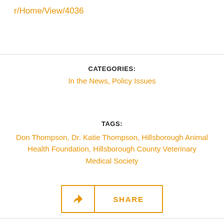r/Home/View/4036
CATEGORIES:
In the News, Policy Issues
TAGS:
Don Thompson, Dr. Katie Thompson, Hillsborough Animal Health Foundation, Hillsborough County Veterinary Medical Society